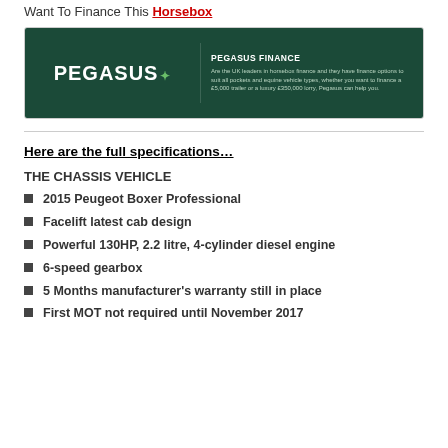Want To Finance This Horsebox
[Figure (logo): Pegasus Finance banner advertisement with dark green background showing PEGASUS logo with leaf icon on the left and 'PEGASUS FINANCE' text with description on the right]
Here are the full specifications…
THE CHASSIS VEHICLE
2015 Peugeot Boxer Professional
Facelift latest cab design
Powerful 130HP, 2.2 litre, 4-cylinder diesel engine
6-speed gearbox
5 Months manufacturer's warranty still in place
First MOT not required until November 2017